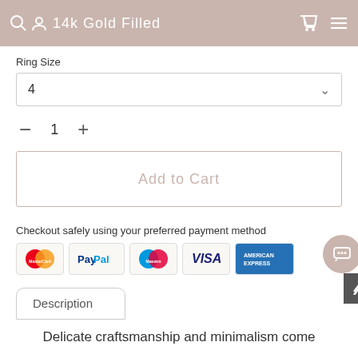14k Gold Filled
Ring Size
4
— 1 +
Add to Cart
Checkout safely using your preferred payment method
[Figure (infographic): Payment method icons: MasterCard, PayPal, Maestro, Visa, American Express]
Description
Delicate craftsmanship and minimalism come